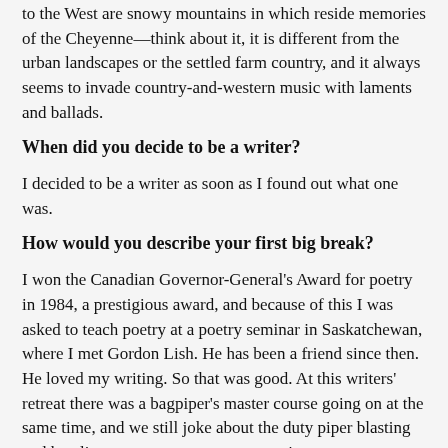to the West are snowy mountains in which reside memories of the Cheyenne—think about it, it is different from the urban landscapes or the settled farm country, and it always seems to invade country-and-western music with laments and ballads.
When did you decide to be a writer?
I decided to be a writer as soon as I found out what one was.
How would you describe your first big break?
I won the Canadian Governor-General's Award for poetry in 1984, a prestigious award, and because of this I was asked to teach poetry at a poetry seminar in Saskatchewan, where I met Gordon Lish. He has been a friend since then. He loved my writing. So that was good. At this writers' retreat there was a bagpiper's master course going on at the same time, and we still joke about the duty piper blasting and howling away at seven every morning.